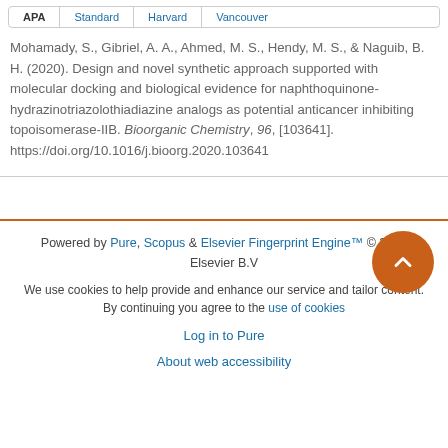APA | Standard | Harvard | Vancouver
Mohamady, S., Gibriel, A. A., Ahmed, M. S., Hendy, M. S., & Naguib, B. H. (2020). Design and novel synthetic approach supported with molecular docking and biological evidence for naphthoquinone-hydrazinotriazolothiadiazine analogs as potential anticancer inhibiting topoisomerase-IIB. Bioorganic Chemistry, 96, [103641]. https://doi.org/10.1016/j.bioorg.2020.103641
Powered by Pure, Scopus & Elsevier Fingerprint Engine™ © 2022 Elsevier B.V
We use cookies to help provide and enhance our service and tailor content. By continuing you agree to the use of cookies
Log in to Pure
About web accessibility